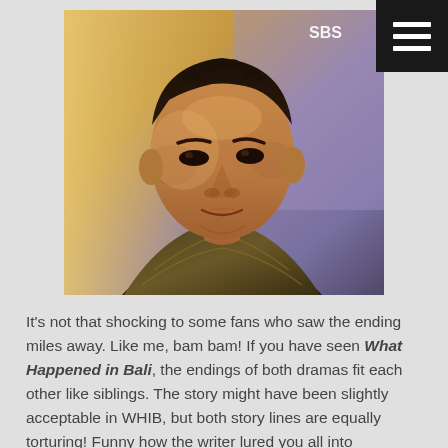[Figure (photo): A young Asian man with short dark hair, wearing a patterned dark shirt, looking slightly upward. The background shows a warm golden light on the left and a purple/blue background on the right with 'SBS' watermark visible.]
It's not that shocking to some fans who saw the ending miles away. Like me, bam bam! If you have seen What Happened in Bali, the endings of both dramas fit each other like siblings. The story might have been slightly acceptable in WHIB, but both story lines are equally torturing! Funny how the writer lured you all into